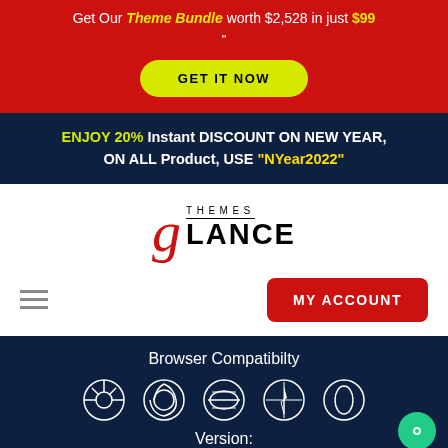Get Our Theme Bundle worth $2,528 in just $99 "
GET IT NOW
ENJOY 20% Instant DISCOUNT ON NEW YEAR, ON ALL Product, USE "NYear2022"
[Figure (logo): Themes Glance logo with stylized red G and black LANCE text]
MY ACCOUNT
Browser Compatibilty
[Figure (infographic): Browser compatibility icons: Chrome, Firefox, Internet Explorer, Safari, Opera]
Version: